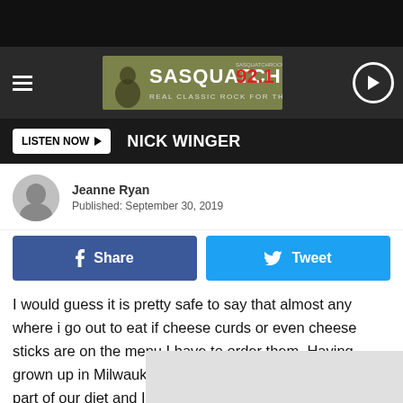[Figure (screenshot): Sasquatch 92.1 radio station logo banner with hamburger menu and play button]
LISTEN NOW ▶  NICK WINGER
Jeanne Ryan
Published: September 30, 2019
[Figure (screenshot): Facebook Share button (blue) and Twitter Tweet button (light blue)]
I would guess it is pretty safe to say that almost any where i go out to eat if cheese curds or even cheese sticks are on the menu I have to order them. Having grown up in Milwaukee I promise you cheese was a big part of our diet and I absolutely love it. I am convinced I would have a full blown